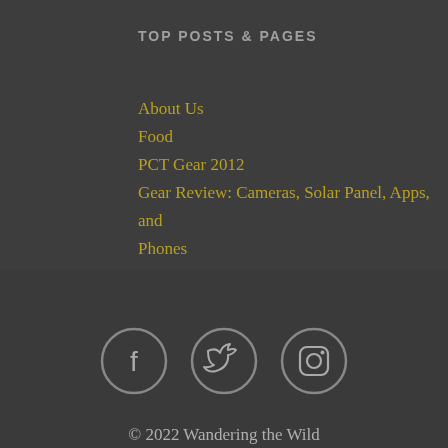TOP POSTS & PAGES
About Us
Food
PCT Gear 2012
Gear Review: Cameras, Solar Panel, Apps, and Phones
Engaged in Glacier National Park!
PCT Blog Entries
[Figure (infographic): Three circular social media icons: Facebook, Twitter, Instagram — gray outlined circles on dark background]
© 2022 Wandering the Wild
BLOG AT WORDPRESS.COM.